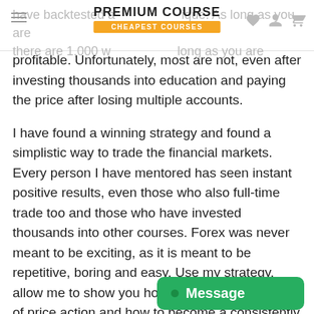PREMIUM COURSE | CHEAPEST COURSES
profitable. Unfortunately, most are not, even after investing thousands into education and paying the price after losing multiple accounts.
I have found a winning strategy and found a simplistic way to trade the financial markets. Every person I have mentored has seen instant positive results, even those who also full-time trade too and those who have invested thousands into other courses. Forex was never meant to be exciting, as it is meant to be repetitive, boring and easy. Use my strategy, allow me to show you how to read the language of price action and how to become a consistently profitable retail trader.
FULL MARKET BREAKDOWNS
Multiple 1HR video forex market breakdowns every morning in